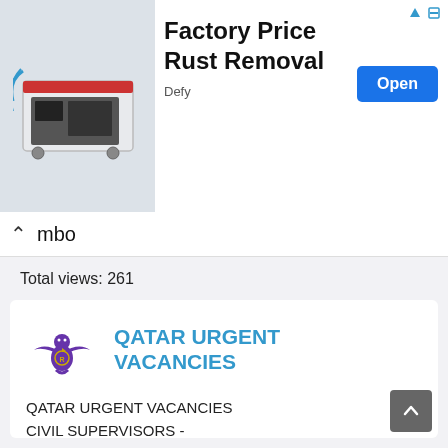[Figure (photo): Advertisement banner: photo of a rust removal machine on left, text 'Factory Price Rust Removal' with 'Defy' sponsor and 'Open' button on right]
mbo
Total views: 261
[Figure (logo): Qatar Urgent Vacancies logo: purple eagle emblem]
QATAR URGENT VACANCIES
QATAR URGENT VACANCIES CIVIL SUPERVISORS - 3000QR-5000QR ELECTRICAL SUPERVISOR - 3000QR-5000QR MECHANICAL SUPERVISOR - 3000QR-5000QR PIPING FOREMAN - 2500QR-4000QR PIPE...